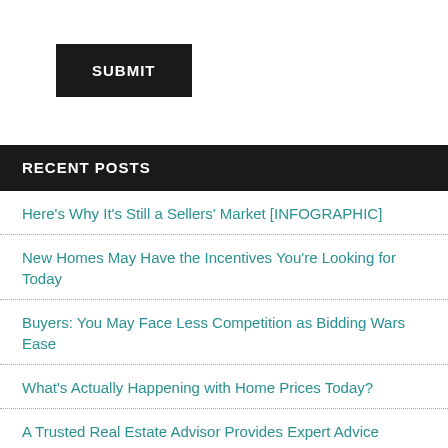[Figure (other): Dark rectangular SUBMIT button with white uppercase text]
RECENT POSTS
Here's Why It's Still a Sellers' Market [INFOGRAPHIC]
New Homes May Have the Incentives You're Looking for Today
Buyers: You May Face Less Competition as Bidding Wars Ease
What's Actually Happening with Home Prices Today?
A Trusted Real Estate Advisor Provides Expert Advice